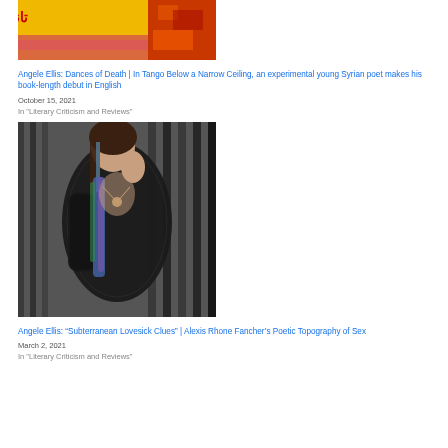[Figure (photo): Book cover image with Arabic text on yellow background with red/colorful abstract art, titled 'Tango Below a Narrow Ceiling']
Angele Ellis: Dances of Death | In Tango Below a Narrow Ceiling, an experimental young Syrian poet makes his book-length debut in English
October 15, 2021
In "Literary Criticism and Reviews"
[Figure (photo): Black and white photo of a woman in black lace outfit with colorful scarf, posing against a striped background]
Angele Ellis: “Subterranean Lovesick Clues” | Alexis Rhone Fancher’s Poetic Topography of Sex
March 2, 2021
In "Literary Criticism and Reviews"